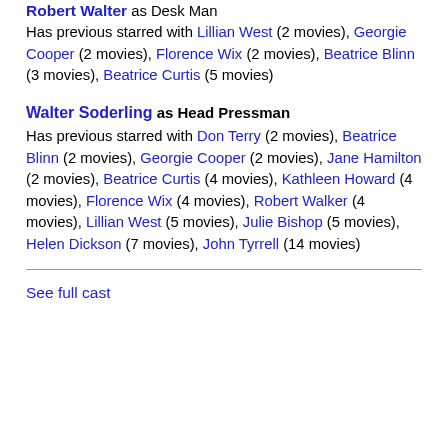Robert Walter as Desk Man
Has previous starred with Lillian West (2 movies), Georgie Cooper (2 movies), Florence Wix (2 movies), Beatrice Blinn (3 movies), Beatrice Curtis (5 movies)
Walter Soderling as Head Pressman
Has previous starred with Don Terry (2 movies), Beatrice Blinn (2 movies), Georgie Cooper (2 movies), Jane Hamilton (2 movies), Beatrice Curtis (4 movies), Kathleen Howard (4 movies), Florence Wix (4 movies), Robert Walker (4 movies), Lillian West (5 movies), Julie Bishop (5 movies), Helen Dickson (7 movies), John Tyrrell (14 movies)
See full cast